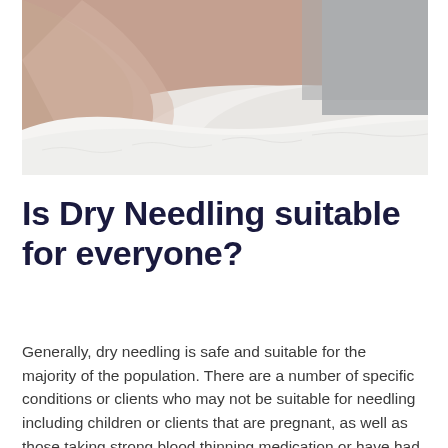[Figure (photo): Close-up photograph of a person lying down with skin visible and a white towel or cloth draped over them, suggesting a clinical or spa treatment setting.]
Is Dry Needling suitable for everyone?
Generally, dry needling is safe and suitable for the majority of the population. There are a number of specific conditions or clients who may not be suitable for needling including children or clients that are pregnant, as well as those taking strong blood thinning medication or have had a past history of